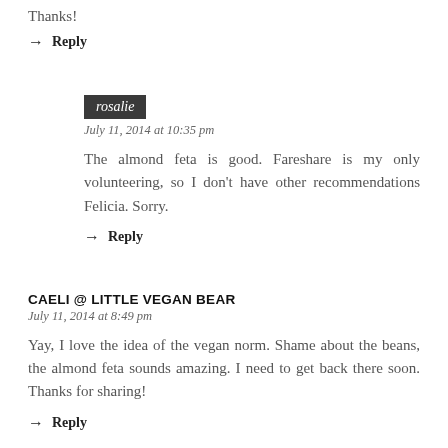Thanks!
→ Reply
rosalie
July 11, 2014 at 10:35 pm
The almond feta is good. Fareshare is my only volunteering, so I don't have other recommendations Felicia. Sorry.
→ Reply
CAELI @ LITTLE VEGAN BEAR
July 11, 2014 at 8:49 pm
Yay, I love the idea of the vegan norm. Shame about the beans, the almond feta sounds amazing. I need to get back there soon. Thanks for sharing!
→ Reply